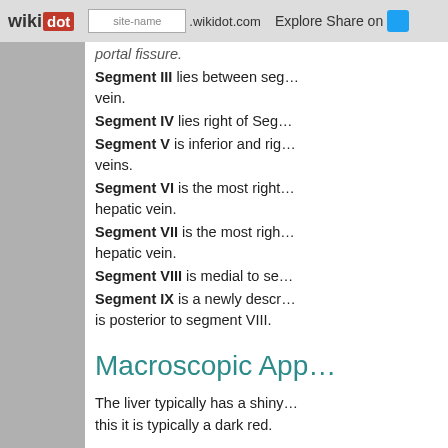wikidot | site-name .wikidot.com | Explore | Share on
portal fissure.
Segment III lies between seg... vein.
Segment IV lies right of Seg...
Segment V is inferior and rig... veins.
Segment VI is the most right... hepatic vein.
Segment VII is the most righ... hepatic vein.
Segment VIII is medial to se...
Segment IX is a newly descr... is posterior to segment VIII.
Macroscopic Appe...
The liver typically has a shiny... this it is typically a dark red.
Microscopic Appe...